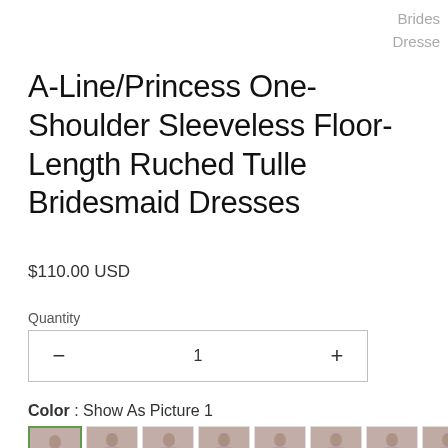Brides
Dresse
A-Line/Princess One-Shoulder Sleeveless Floor-Length Ruched Tulle Bridesmaid Dresses
$110.00 USD
Quantity
− 1 +
Color : Show As Picture 1
[Figure (photo): Row of 8 thumbnail images of a purple/lavender bridesmaid dress shown from various angles, first thumbnail selected with green checkmark]